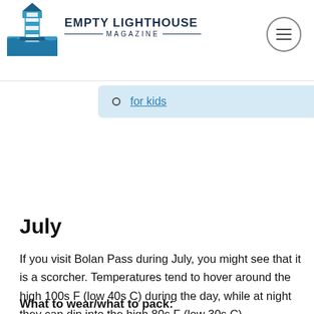EMPTY LIGHTHOUSE MAGAZINE
for kids
July
If you visit Bolan Pass during July, you might see that it is a scorcher. Temperatures tend to hover around the high 100s F (low 40s C) during the day, while at night they can dip into the high 80s F (low 30s C).
What to wear/what to pack: